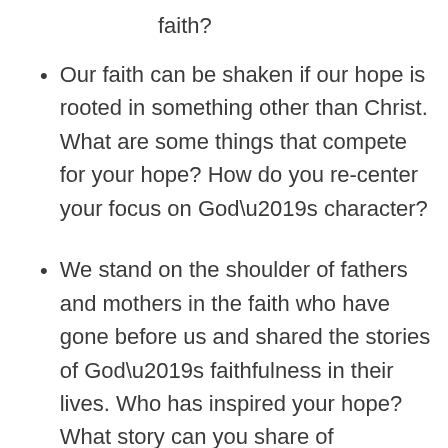faith?
Our faith can be shaken if our hope is rooted in something other than Christ. What are some things that compete for your hope? How do you re-center your focus on God’s character?
We stand on the shoulder of fathers and mothers in the faith who have gone before us and shared the stories of God’s faithfulness in their lives. Who has inspired your hope? What story can you share of God’s faithfulness that might encourage others to hope?